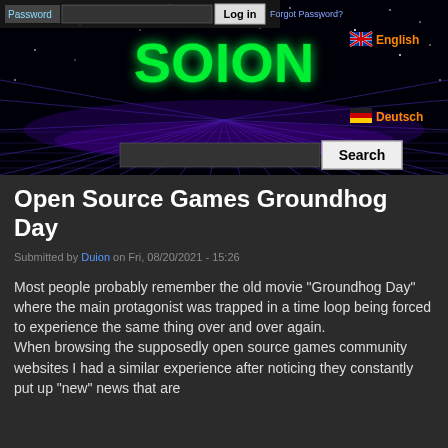[Figure (screenshot): Website header banner for SOION with dark starfield/neon background, login fields, language selectors (English/Deutsch), logo text 'SOION' in green, and a search bar]
Open Source Games Groundhog Day
Submitted by Duion on Fri, 08/20/2021 - 15:26
Most people probably remember the old movie "Groundhog Day" where the main protagonist was trapped in a time loop being forced to experience the same thing over and over again.
When browsing the supposedly open source games community websites I had a similar experience after noticing they constantly put up "new" news that are